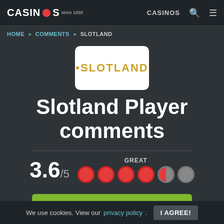CASINOS since 1998 | CASINOS
HOME » COMMENTS » SLOTLAND
[Figure (logo): Slotland casino logo — white rounded rectangle with gold text SLOTLAND]
Slotland Player comments
GREAT
3.6/5
POST A COMMENT
We use cookies. View our privacy policy.  I AGREE!